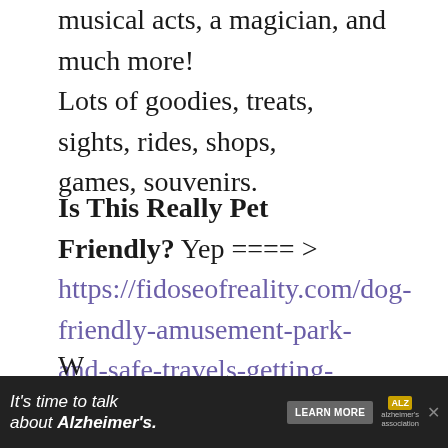musical acts, a magician, and much more! Lots of goodies, treats, sights, rides, shops, games, souvenirs.
Is This Really Pet Friendly? Yep ==== > https://fidoseofreality.com/dog-friendly-amusement-park-and-safe-travels-getting-there/
Can I Walk Around The Park With My Dog(s)? Yes, someone will always be at the Pavilion (my spouse) so anything you bring will be safe.
[Figure (other): Alzheimer's Association advertisement banner: 'It's time to talk about Alzheimer's.' with Learn More button]
W...no...